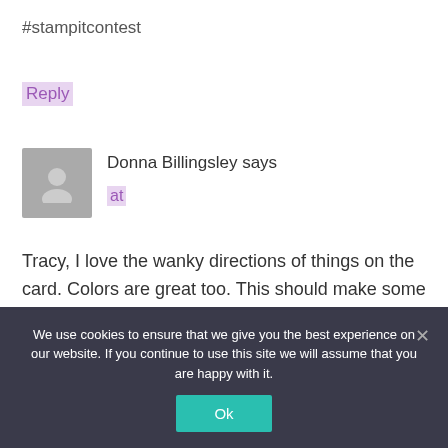#stampitcontest
Reply
[Figure (illustration): Grey avatar placeholder image showing a silhouette of a person]
Donna Billingsley says
at
Tracy, I love the wanky directions of things on the card. Colors are great too. This should make some Father SMILE! #STAMPITCONTEST
We use cookies to ensure that we give you the best experience on our website. If you continue to use this site we will assume that you are happy with it.